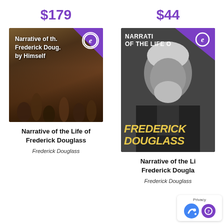$179
[Figure (illustration): Book cover: Narrative of the Life of Frederick Douglass by Himself, with a painting of enslaved people and an e-badge in the top right corner]
$44
[Figure (illustration): Book cover: Narrative of the Life of Frederick Douglass, showing a black and white portrait photo of Frederick Douglass with yellow text at the bottom and an e-badge in the top right corner]
Narrative of the Life of Frederick Douglass
Narrative of the Life of Frederick Douglass
Frederick Douglass
Frederick Douglass